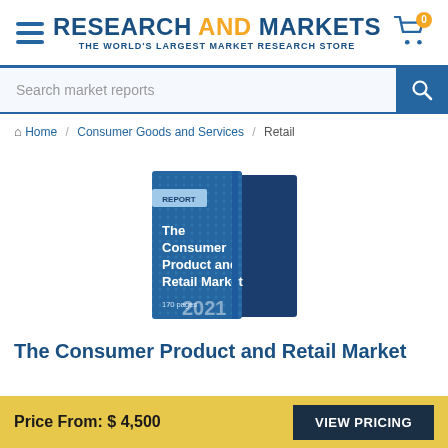RESEARCH AND MARKETS - THE WORLD'S LARGEST MARKET RESEARCH STORE
Search market reports
Home / Consumer Goods and Services / Retail
[Figure (illustration): 3D book cover illustration showing 'The Consumer Product and Retail Market' report, 170 pages, 2021]
The Consumer Product and Retail Market
Price From: $ 4,500  VIEW PRICING